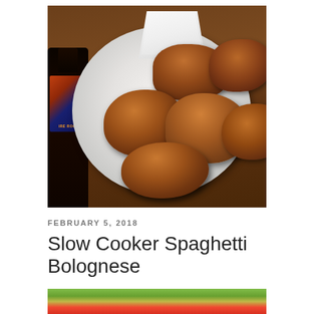[Figure (photo): Photo of breaded fried food pieces on a white plate with a small white square dipping sauce bowl, and a dark beer bottle on the left side, on a wooden table background.]
FEBRUARY 5, 2018
Slow Cooker Spaghetti Bolognese
[Figure (photo): Partially visible photo at the bottom showing a salad with greens and red tomatoes.]